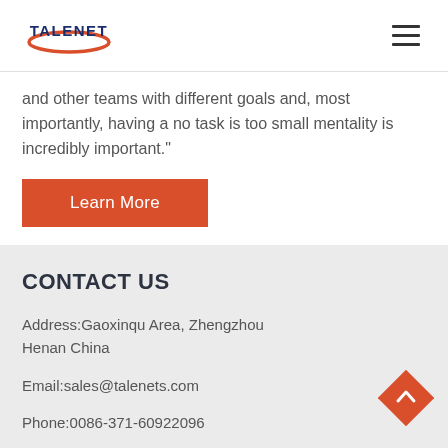[Figure (logo): Talenet company logo with red oval swoosh and blue TALENET text]
and other teams with different goals and, most importantly, having a no task is too small mentality is incredibly important."
Learn More
CONTACT US
Address:Gaoxinqu Area, Zhengzhou Henan China
Email:sales@talenets.com
Phone:0086-371-60922096